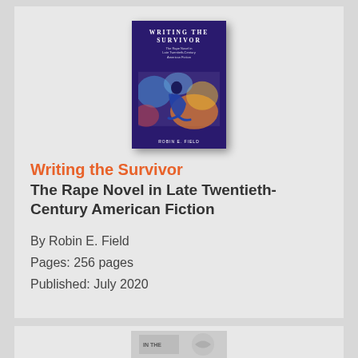[Figure (illustration): Book cover of 'Writing the Survivor: The Rape Novel in Late Twentieth-Century American Fiction' by Robin E. Field, showing a painted figure of a person sitting, with colorful abstract background in blues, oranges, and yellows, on a dark navy background.]
Writing the Survivor
The Rape Novel in Late Twentieth-Century American Fiction
By Robin E. Field
Pages: 256 pages
Published: July 2020
[Figure (illustration): Partial view of another book cover at the bottom of the page, partially cut off, showing text 'IN THE']